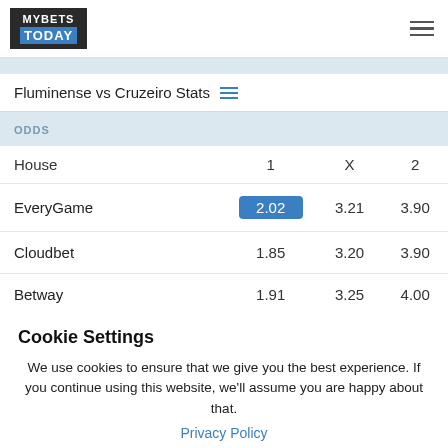MYBETS TODAY
Fluminense vs Cruzeiro Stats
| House | 1 | X | 2 |
| --- | --- | --- | --- |
| EveryGame | 2.02 | 3.21 | 3.90 |
| Cloudbet | 1.85 | 3.20 | 3.90 |
| Betway | 1.91 | 3.25 | 4.00 |
Cookie Settings
We use cookies to ensure that we give you the best experience. If you continue using this website, we'll assume you are happy about that.
Privacy Policy
I AGREE